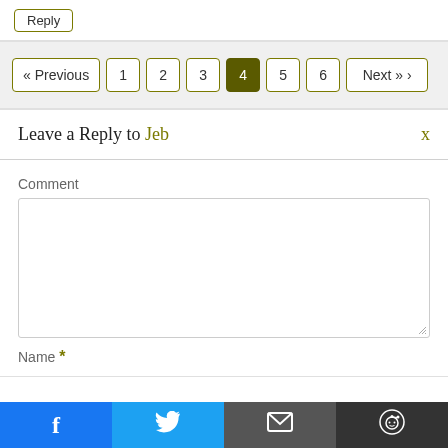Reply
« Previous  1  2  3  4  5  6  Next » >
Leave a Reply to Jeb
Comment
Name *